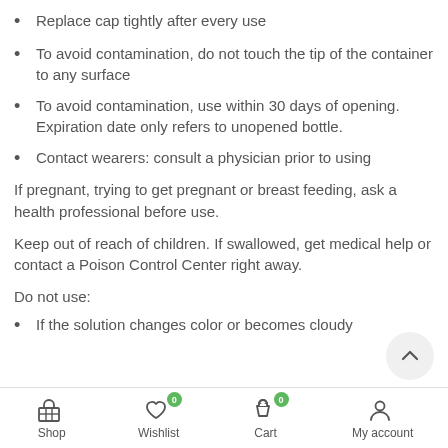Replace cap tightly after every use
To avoid contamination, do not touch the tip of the container to any surface
To avoid contamination, use within 30 days of opening. Expiration date only refers to unopened bottle.
Contact wearers: consult a physician prior to using
If pregnant, trying to get pregnant or breast feeding, ask a health professional before use.
Keep out of reach of children. If swallowed, get medical help or contact a Poison Control Center right away.
Do not use:
If the solution changes color or becomes cloudy
Shop | Wishlist 0 | Cart 0 | My account